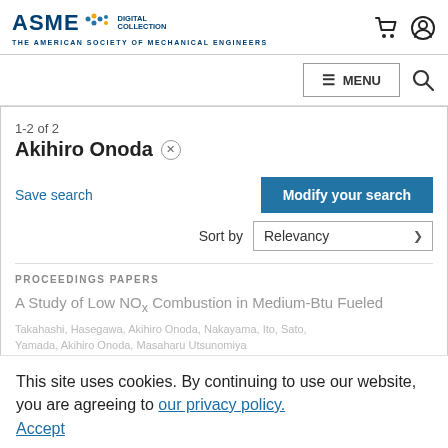ASME DIGITAL COLLECTION — THE AMERICAN SOCIETY OF MECHANICAL ENGINEERS
1-2 of 2
Akihiro Onoda ×
Save search
Modify your search
Sort by Relevancy
PROCEEDINGS PAPERS
A Study of Low NOx Combustion in Medium-Btu Fueled
This site uses cookies. By continuing to use our website, you are agreeing to our privacy policy. Accept